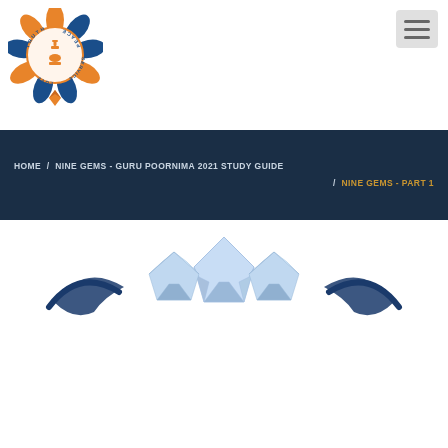[Figure (logo): Brahma Kumaris logo — circular flower/lotus design with orange and blue colors, featuring a chess king piece in the center and words TRUTH, LOVE, PEACE around the ring]
[Figure (illustration): Hamburger / navigation menu icon button (three horizontal lines) in a gray rounded rectangle]
HOME  /  NINE GEMS - GURU POORNIMA 2021 STUDY GUIDE  /  NINE GEMS - PART 1
[Figure (illustration): Decorative gem/diamond illustration in light blue and white with dark blue curved accent shapes on either side]